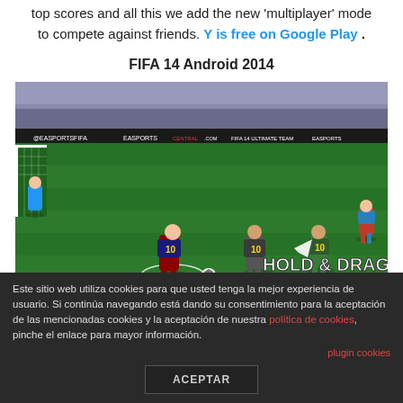top scores and all this we add the new 'multiplayer' mode to compete against friends. Y is free on Google Play .
FIFA 14 Android 2014
[Figure (screenshot): Screenshot of FIFA 14 Android game showing football players on a green pitch with 'HOLD & DRAG TO MOVE' instruction overlay and 'Jack Incongruente' watermark in bottom left corner.]
Este sitio web utiliza cookies para que usted tenga la mejor experiencia de usuario. Si continúa navegando está dando su consentimiento para la aceptación de las mencionadas cookies y la aceptación de nuestra política de cookies, pinche el enlace para mayor información.
plugin cookies
ACEPTAR